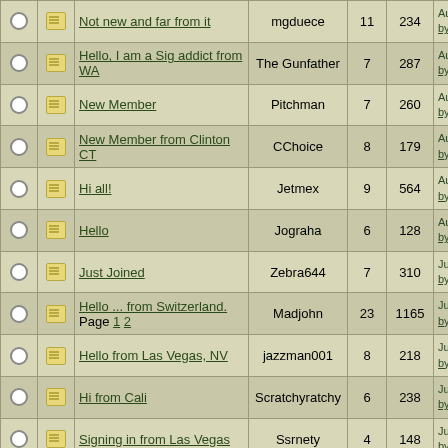|  |  | Title | Author | Replies | Views | Last Post |
| --- | --- | --- | --- | --- | --- | --- |
|  |  | Not new and far from it | mgduece | 11 | 234 | August 04, 2022 by mgduece |
|  |  | Hello, I am a Sig addict from WA | The Gunfather | 7 | 287 | August 04, 2022 by magholderusa |
|  |  | New Member | Pitchman | 7 | 260 | August 04, 2022 by magholderusa |
|  |  | New Member from Clinton CT | CChoice | 8 | 179 | August 04, 2022 by magholderusa |
|  |  | Hi all! | Jetmex | 9 | 564 | August 04, 2022 by magholderusa |
|  |  | Hello | Jograha | 6 | 128 | August 04, 2022 by magholderusa |
|  |  | Just Joined | Zebra644 | 7 | 310 | July 26, 2022 04 by Bxshooters45 |
|  |  | Hello ... from Switzerland. Page 1 2 | Madjohn | 23 | 1165 | July 19, 2022 09 by 10X-Shooter |
|  |  | Hello from Las Vegas, NV | jazzman001 | 8 | 218 | July 10, 2022 11 by Bxshooters45 |
|  |  | Hi from Cali | Scratchyratchy | 6 | 238 | July 10, 2022 11 by Bxshooters45 |
|  |  | Signing in from Las Vegas | Ssrnety | 4 | 148 | July 10, 2022 11 by Bxshooters45 |